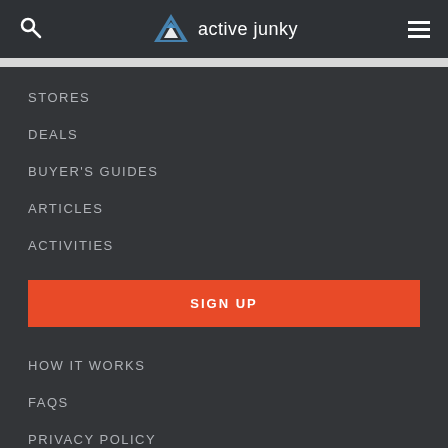active junky
STORES
DEALS
BUYER'S GUIDES
ARTICLES
ACTIVITIES
SIGN UP
HOW IT WORKS
FAQS
PRIVACY POLICY
TERMS OF SERVICE
PRESS ROOM
CONTACT US